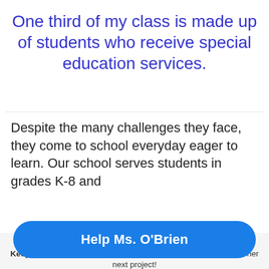One third of my class is made up of students who receive special education services.
Despite the many challenges they face, they come to school everyday eager to learn. Our school serves students in grades K-8 and
HOORAY! THIS PROJECT IS FULLY FUNDED
Keep the momentum going! Make a donation to Ms. O'Brien for her next project!
Help Ms. O'Brien